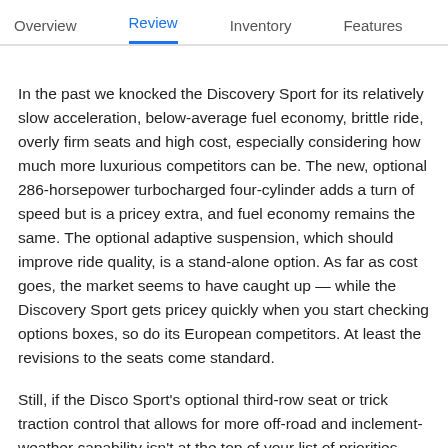Overview   Review   Inventory   Features
In the past we knocked the Discovery Sport for its relatively slow acceleration, below-average fuel economy, brittle ride, overly firm seats and high cost, especially considering how much more luxurious competitors can be. The new, optional 286-horsepower turbocharged four-cylinder adds a turn of speed but is a pricey extra, and fuel economy remains the same. The optional adaptive suspension, which should improve ride quality, is a stand-alone option. As far as cost goes, the market seems to have caught up — while the Discovery Sport gets pricey quickly when you start checking options boxes, so do its European competitors. At least the revisions to the seats come standard.
Still, if the Disco Sport's optional third-row seat or trick traction control that allows for more off-road and inclement-weather capability isn't at the top of your list of priorities,